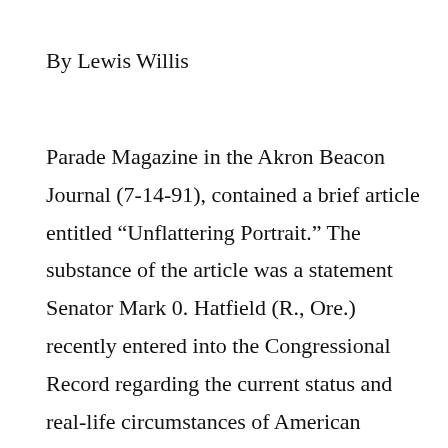By Lewis Willis
Parade Magazine in the Akron Beacon Journal (7-14-91), contained a brief article entitled “Unflattering Portrait.” The substance of the article was a statement Senator Mark 0. Hatfield (R., Ore.) recently entered into the Congressional Record regarding the current status and real-life circumstances of American children. (All of the emphasises are mine, LW)